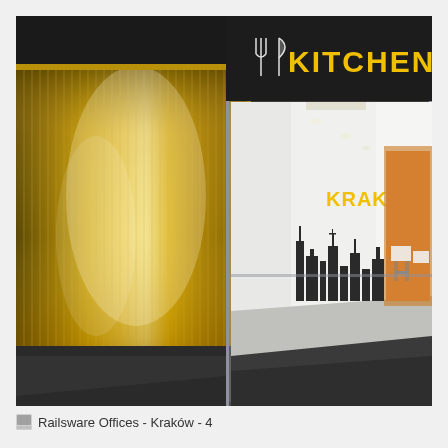[Figure (photo): Interior photo of Railsware Offices in Kraków. On the left is a curved wall made of translucent amber/gold ribbed glass panels with warm golden lighting behind them. On the right is a glass-walled kitchen entrance with a dark header sign reading 'KITCHEN' in yellow text with a fork-and-knife icon. Beyond the glass door is a long white corridor with 'KRAKÓW' written in yellow on the wall and a black skyline cityscape mural. The corridor leads to a bright open area with white chairs and wooden accent walls visible in the distance. The floor transitions from dark charcoal carpet near the entrance to a light grey polished floor in the hallway.]
Railsware Offices - Kraków - 4